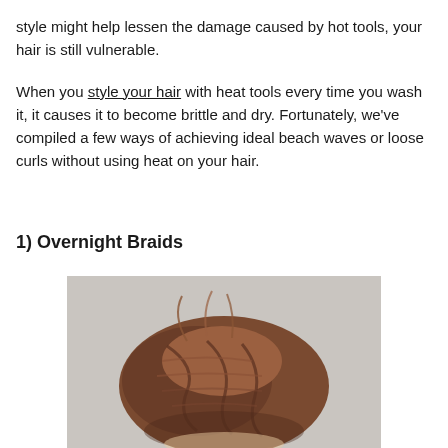style might help lessen the damage caused by hot tools, your hair is still vulnerable.
When you style your hair with heat tools every time you wash it, it causes it to become brittle and dry. Fortunately, we've compiled a few ways of achieving ideal beach waves or loose curls without using heat on your hair.
1) Overnight Braids
[Figure (photo): A photo of braided hair, brown/auburn colored, shown from above against a light gray background.]